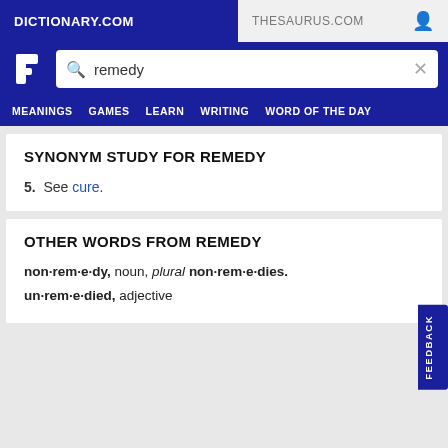DICTIONARY.COM    THESAURUS.COM
[Figure (screenshot): Dictionary.com logo and search bar with query 'remedy']
MEANINGS   GAMES   LEARN   WRITING   WORD OF THE DAY
SYNONYM STUDY FOR REMEDY
5. See cure.
OTHER WORDS FROM REMEDY
non·rem·e·dy, noun, plural non·rem·e·dies.
un·rem·e·died, adjective